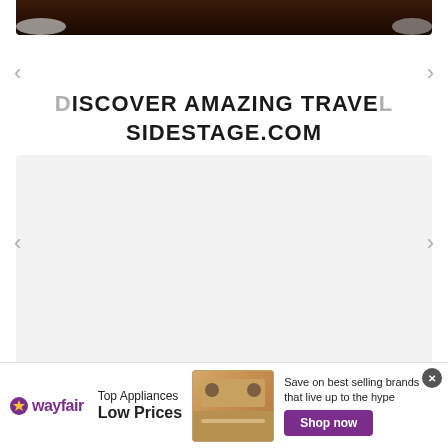[Figure (photo): Dark reddish-brown image strip at top of page, partially cropped]
DISCOVER AMAZING TRAVEL
SIDESTAGE.COM
[Figure (screenshot): Large light gray carousel placeholder box with left and right navigation arrows]
[Figure (screenshot): Small light gray thumbnail strip at bottom of carousel]
[Figure (infographic): Wayfair advertisement banner: Top Appliances Low Prices, Save on best selling brands that live up to the hype, Shop now button]